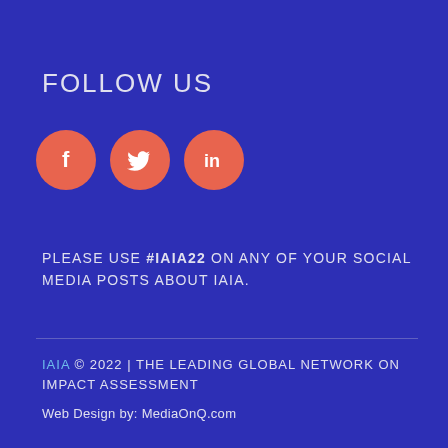FOLLOW US
[Figure (infographic): Three social media icon circles (salmon/red color): Facebook (f), Twitter (bird), LinkedIn (in)]
PLEASE USE #IAIA22 ON ANY OF YOUR SOCIAL MEDIA POSTS ABOUT IAIA.
IAIA © 2022 | THE LEADING GLOBAL NETWORK ON IMPACT ASSESSMENT
Web Design by: MediaOnQ.com